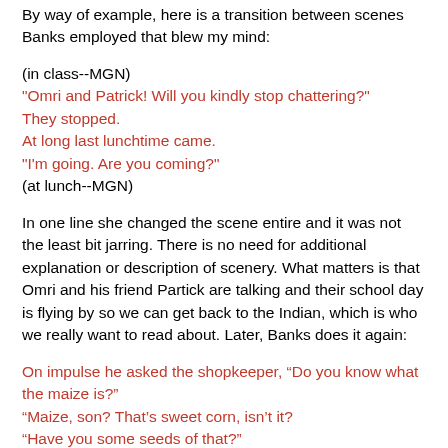By way of example, here is a transition between scenes Banks employed that blew my mind:
(in class--MGN)
"Omri and Patrick! Will you kindly stop chattering?"
They stopped.
At long last lunchtime came.
"I'm going. Are you coming?"
(at lunch--MGN)
In one line she changed the scene entire and it was not the least bit jarring. There is no need for additional explanation or description of scenery. What matters is that Omri and his friend Partick are talking and their school day is flying by so we can get back to the Indian, which is who we really want to read about. Later, Banks does it again:
On impulse he asked the shopkeeper, “Do you know what the maize is?”
“Maize, son? That’s sweet corn, isn’t it?
“Have you some seeds of that?”
Outside, standing by Omri’s bike, was Patrick.